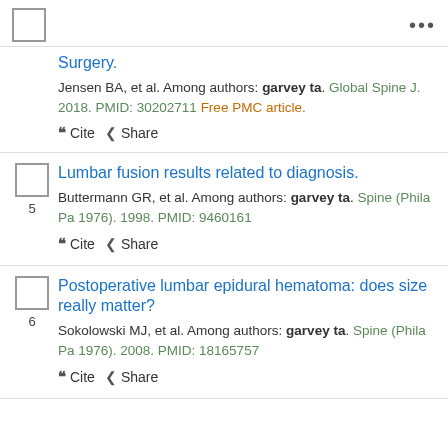Surgery. Jensen BA, et al. Among authors: garvey ta. Global Spine J. 2018. PMID: 30202711 Free PMC article.
Lumbar fusion results related to diagnosis. Buttermann GR, et al. Among authors: garvey ta. Spine (Phila Pa 1976). 1998. PMID: 9460161
Postoperative lumbar epidural hematoma: does size really matter? Sokolowski MJ, et al. Among authors: garvey ta. Spine (Phila Pa 1976). 2008. PMID: 18165757